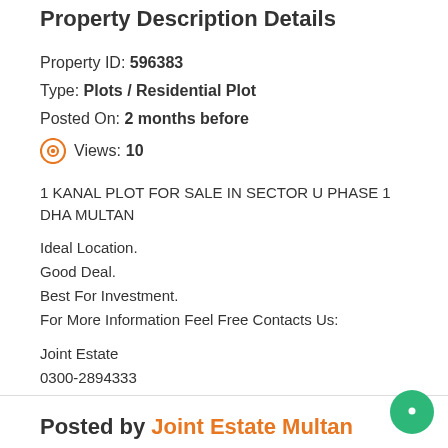Property Description Details
Property ID: 596383
Type: Plots / Residential Plot
Posted On: 2 months before
Views: 10
1 KANAL PLOT FOR SALE IN SECTOR U PHASE 1 DHA MULTAN
Ideal Location.
Good Deal.
Best For Investment.
For More Information Feel Free Contacts Us:
Joint Estate
0300-2894333
Posted by Joint Estate Multan